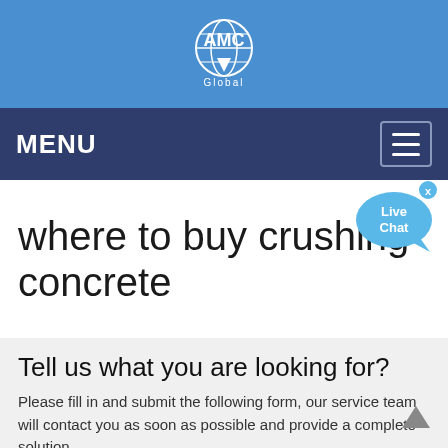[Figure (logo): AMC Global company logo — globe icon with 'AMC' text and 'Global' subtitle on blue background]
MENU
where to buy crushing concrete
Tell us what you are looking for?
Please fill in and submit the following form, our service team will contact you as soon as possible and provide a complete solution.